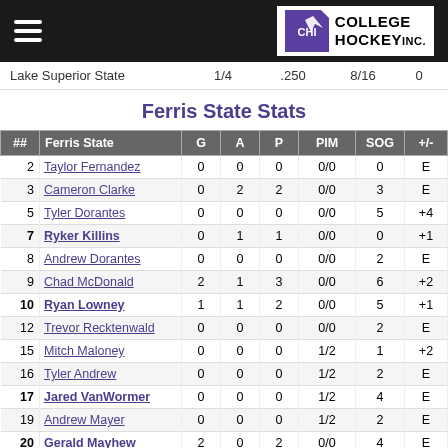College Hockey Inc. — navigation header
| ## | Ferris State | G | A | P | PIM | SOG | +/- |
| --- | --- | --- | --- | --- | --- | --- | --- |
| 2 | Taylor Fernandez | 0 | 0 | 0 | 0/0 | 0 | E |
| 3 | Cameron Clarke | 0 | 2 | 2 | 0/0 | 3 | E |
| 5 | Tyler Dorantes | 0 | 0 | 0 | 0/0 | 5 | +4 |
| 7 | Ryker Killins | 0 | 1 | 1 | 0/0 | 0 | +1 |
| 8 | Andrew Dorantes | 0 | 0 | 0 | 0/0 | 2 | E |
| 9 | Chad McDonald | 2 | 1 | 3 | 0/0 | 6 | +2 |
| 10 | Ryan Lowney | 1 | 1 | 2 | 0/0 | 5 | +1 |
| 12 | Trevor Recktenwald | 0 | 0 | 0 | 0/0 | 2 | E |
| 15 | Mitch Maloney | 0 | 0 | 0 | 1/2 | 1 | +2 |
| 16 | Tyler Andrew | 0 | 0 | 0 | 1/2 | 2 | E |
| 17 | Jared VanWormer | 0 | 0 | 0 | 1/2 | 4 | E |
| 19 | Andrew Mayer | 0 | 0 | 0 | 1/2 | 2 | E |
| 20 | Gerald Mayhew | 2 | 0 | 2 | 0/0 | 4 | E |
| 21 | Corey Mackin | 0 | 0 | 0 | 0/0 | 2 | E |
| 23 | Nate Kallen | 0 | 0 | 0 | 0/0 | 1 | -1 |
| 24 | Craig Pefley | 1 | 3 | 4 | 1/2 | 3 | +2 |